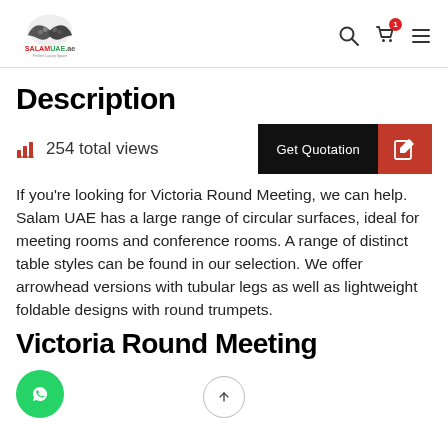SALAMUAE.ae Perfect Luxury Space — navigation header with logo, search, cart (1), and menu icons
Description
254 total views
[Figure (other): Get Quotation button with black left panel and red right panel with edit icon]
If you're looking for Victoria Round Meeting, we can help. Salam UAE has a large range of circular surfaces, ideal for meeting rooms and conference rooms. A range of distinct table styles can be found in our selection. We offer arrowhead versions with tubular legs as well as lightweight foldable designs with round trumpets.
Victoria Round Meeting